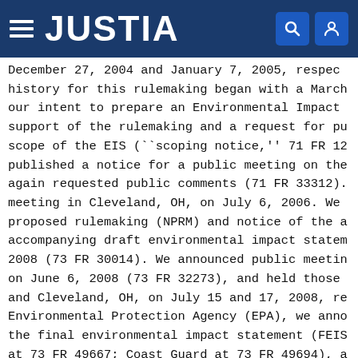[Figure (screenshot): Justia website header bar with hamburger menu icon, JUSTIA logo in white on dark blue background, and search/user icons on the right]
December 27, 2004 and January 7, 2005, respectively. The history for this rulemaking began with a March notice of our intent to prepare an Environmental Impact Statement in support of the rulemaking and a request for public comment on scope of the EIS (``scoping notice,'' 71 FR 12...). We also published a notice for a public meeting on the NPRM and again requested public comments (71 FR 33312). We held a meeting in Cleveland, OH, on July 6, 2006. We published the proposed rulemaking (NPRM) and notice of the availability of accompanying draft environmental impact statement in May 2008 (73 FR 30014). We announced public meetings on June 6, 2008 (73 FR 32273), and held those meetings and Cleveland, OH, on July 15 and 17, 2008, respectively. Environmental Protection Agency (EPA), we announced the final environmental impact statement (FEIS) published at 73 FR 49667; Coast Guard at 73 FR 49694), and a (ROD) adopting the findings of the FEIS was si